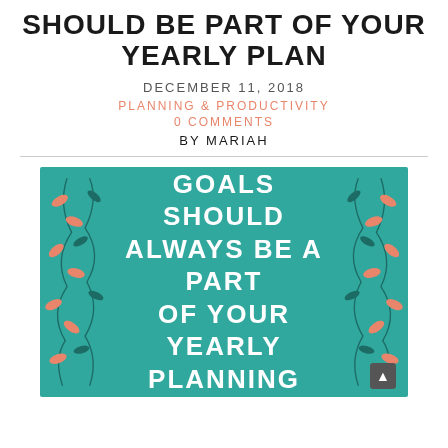SHOULD BE PART OF YOUR YEARLY PLAN
DECEMBER 11, 2018
PLANNING & PRODUCTIVITY
0 COMMENTS
BY MARIAH
[Figure (illustration): Teal/turquoise decorative image with floral vine border and white bold text: WHY REVENUE GOALS SHOULD ALWAYS BE A PART OF YOUR YEARLY PLANNING PROCESS]